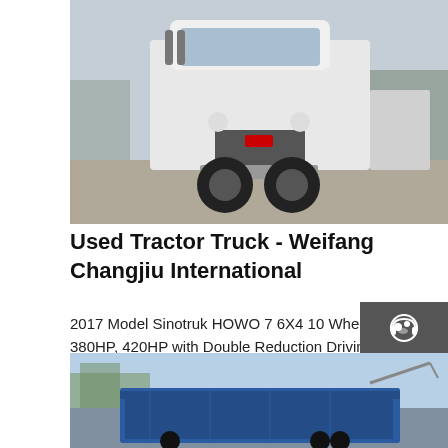[Figure (photo): White Sinotruk HOWO tractor truck viewed from front-left angle, parked on a concrete surface outdoors]
Used Tractor Truck - Weifang Changjiu International
2017 Model Sinotruk HOWO 7 6X4 10 Wheel 371HP, 380HP, 420HP with Double Reduction Driving Axle Used Tractor Truck, Second Hand Prime Mover FOB Price: US $5,000-9,000 / Piece Min. Order: 1 Piece
[Figure (other): Chat icon (headset/support icon) in sidebar]
[Figure (other): Email icon (envelope) in sidebar]
[Figure (other): Contact icon (speech bubble with dots) in sidebar]
[Figure (other): Top/scroll-up arrow icon in sidebar]
[Figure (photo): Blue heavy duty trailer or truck bed partially visible at bottom of page, outdoor setting with trees]